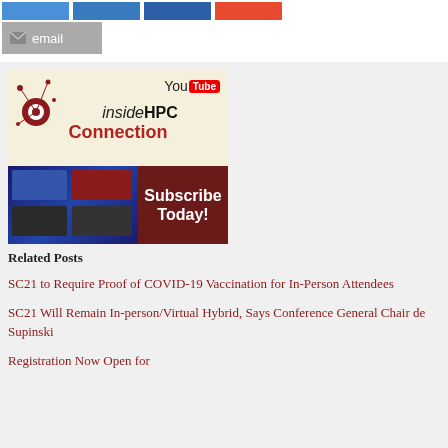[Figure (other): Row of social share buttons: blue, blue, dark blue, red/orange]
[Figure (other): Gray email share button with envelope icon and 'email' label]
[Figure (other): insideHPC Connection YouTube subscription banner image]
Related Posts
SC21 to Require Proof of COVID-19 Vaccination for In-Person Attendees
SC21 Will Remain In-person/Virtual Hybrid, Says Conference General Chair de Supinski
Registration Now Open for